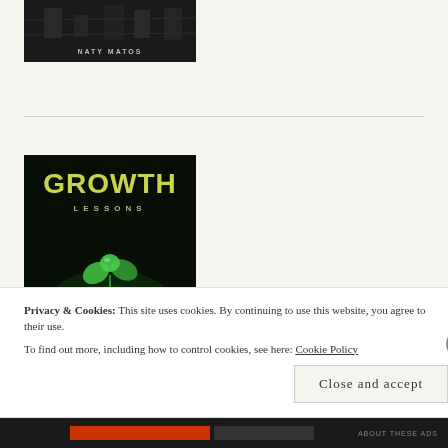[Figure (photo): Top portion of a book cover with dark background showing 'NATY MATOS' as author name]
[Figure (photo): Book cover for 'Growth Lessons' with dark green background, large yellow-green 'GROWTH' title text, 'LESSONS' subtitle, and a glowing green seedling plant in the lower portion]
Privacy & Cookies: This site uses cookies. By continuing to use this website, you agree to their use.
To find out more, including how to control cookies, see here: Cookie Policy
Close and accept